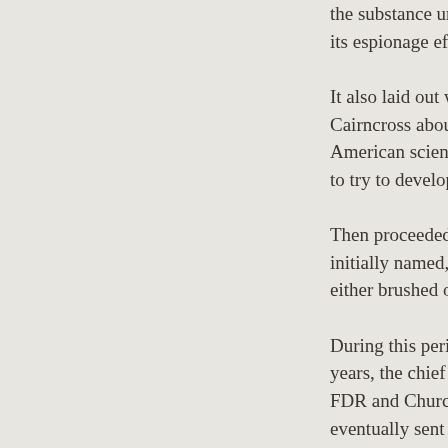the substance uranium its espionage efforts in It also laid out with ord Cairncross about the d American scientists inv to try to develop conta Then proceeded sever initially named, they ne either brushed off or ig During this period, the years, the chief Mosco FDR and Churchill hac eventually sent a very Los Alamos as well as For a couple of years, was in England. There secret communist and